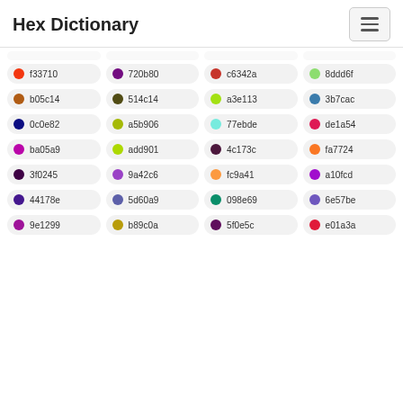Hex Dictionary
f33710
720b80
c6342a
8ddd6f
b05c14
514c14
a3e113
3b7cac
0c0e82
a5b906
77ebde
de1a54
ba05a9
add901
4c173c
fa7724
3f0245
9a42c6
fc9a41
a10fcd
44178e
5d60a9
098e69
6e57be
9e1299
b89c0a
5f0e5c
e01a3a